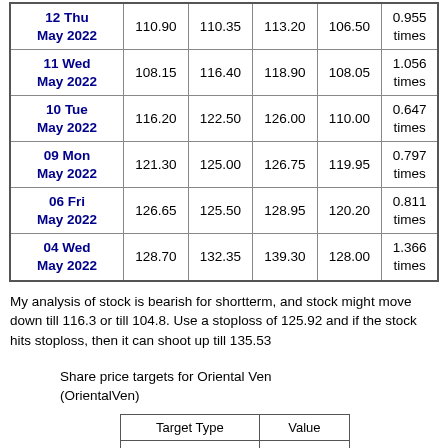| Date | Price | Open | High | Low | Volume/Ratio |
| --- | --- | --- | --- | --- | --- |
| 12 Thu May 2022 | 110.90 | 110.35 | 113.20 | 106.50 | 0.955 times |
| 11 Wed May 2022 | 108.15 | 116.40 | 118.90 | 108.05 | 1.056 times |
| 10 Tue May 2022 | 116.20 | 122.50 | 126.00 | 110.00 | 0.647 times |
| 09 Mon May 2022 | 121.30 | 125.00 | 126.75 | 119.95 | 0.797 times |
| 06 Fri May 2022 | 126.65 | 125.50 | 128.95 | 120.20 | 0.811 times |
| 04 Wed May 2022 | 128.70 | 132.35 | 139.30 | 128.00 | 1.366 times |
My analysis of stock is bearish for shortterm, and stock might move down till 116.3 or till 104.8. Use a stoploss of 125.92 and if the stock hits stoploss, then it can shoot up till 135.53
Share price targets for Oriental Ven (OrientalVen)
| Target Type | Value |
| --- | --- |